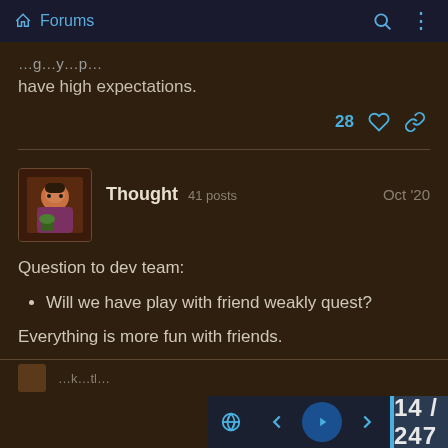Forums
have high expectations.
28 ♡ 🔗
Thought  41 posts  Oct '20
Question to dev team:
Will we have play with friend weakly quest?
Everything is more fun with friends.
8 ♡ 🔗
14 / 247